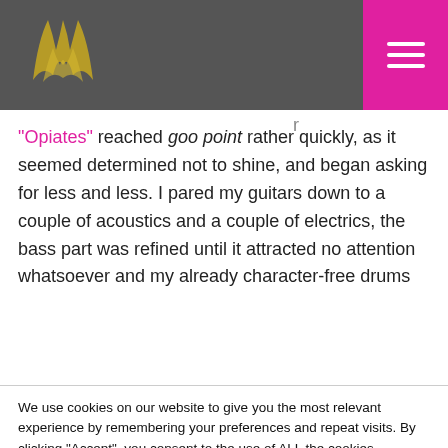sheen is not musical, but it holds the track together. When you've reached goo point, it's time to go back to cement and start peeling away layers that serve no purpose.
“Opiates” reached goo point rather quickly, as it seemed determined not to shine, and began asking for less and less. I pared my guitars down to a couple of acoustics and a couple of electrics, the bass part was refined until it attracted no attention whatsoever and my already character-free drums
We use cookies on our website to give you the most relevant experience by remembering your preferences and repeat visits. By clicking “Accept”, you consent to the use of ALL the cookies.
Do not sell my personal information.